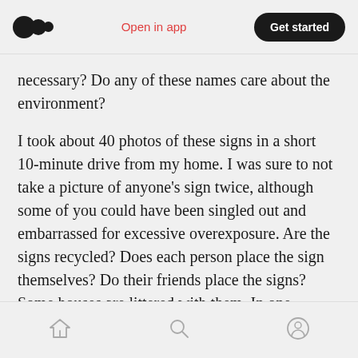Medium logo | Open in app | Get started
necessary? Do any of these names care about the environment?
I took about 40 photos of these signs in a short 10-minute drive from my home. I was sure to not take a picture of anyone's sign twice, although some of you could have been singled out and embarrassed for excessive overexposure. Are the signs recycled? Does each person place the sign themselves? Do their friends place the signs? Some houses are littered with them. In one location near the intersection of Prince Court
Home | Search | Profile